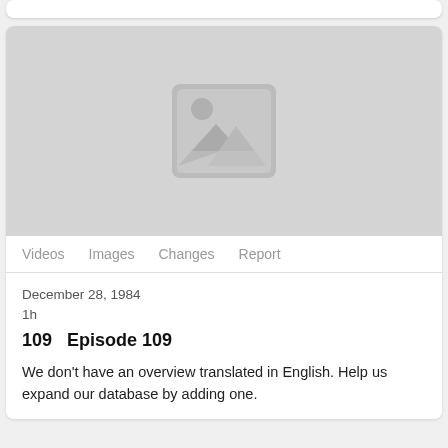[Figure (screenshot): Top partial card, white background with rounded corners, partially visible at top of page]
[Figure (photo): Gray image placeholder with a generic image icon (mountain/sun) in the center, indicating no image is available]
Videos   Images   Changes   Report
December 28, 1984
1h
109   Episode 109
We don't have an overview translated in English. Help us expand our database by adding one.